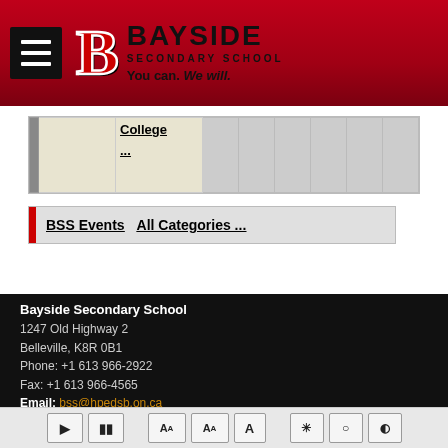[Figure (logo): Bayside Secondary School header with red gradient background, hamburger menu icon, B logo, school name and tagline 'You can. We will.']
|  | College | ... |  |  |  |  |  |  |
BSS Events   All Categories ...
Bayside Secondary School
1247 Old Highway 2
Belleville, K8R 0B1
Phone: +1 613 966-2922
Fax: +1 613 966-4565
Email: bss@hpedsb.on.ca
[Figure (screenshot): Bottom accessibility toolbar with play, pause, font size increase/decrease, and contrast controls]